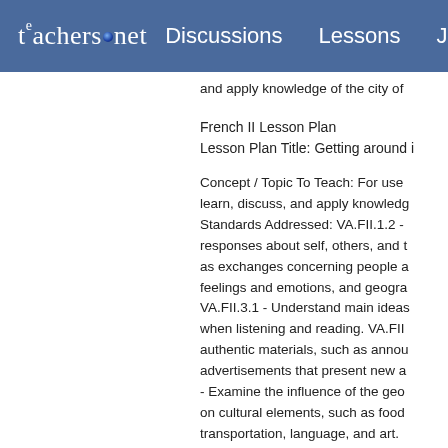teachers.net — Discussions   Lessons   Jo
and apply knowledge of the city of
French II Lesson Plan
Lesson Plan Title: Getting around i
Concept / Topic To Teach: For use learn, discuss, and apply knowledge Standards Addressed: VA.FII.1.2 - responses about self, others, and t as exchanges concerning people a feelings and emotions, and geogra VA.FII.3.1 - Understand main ideas when listening and reading. VA.FII authentic materials, such as annou advertisements that present new a - Examine the influence of the geo on cultural elements, such as food transportation, language, and art. information acquired in other subje